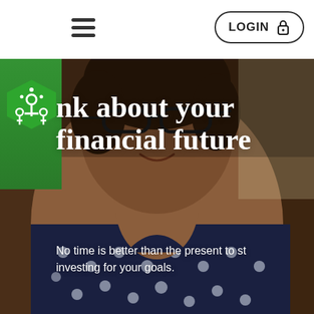[Figure (photo): Smiling Black woman with glasses and a polka-dot v-neck top, arms crossed, photographed from the shoulders up against a blurred brick background]
LOGIN
nk about your financial future
No time is better than the present to start investing for your goals.